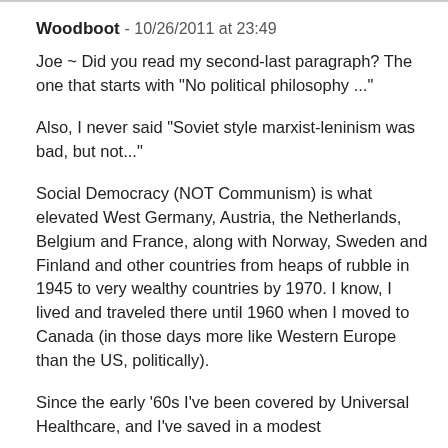Woodboot - 10/26/2011 at 23:49
Joe ~ Did you read my second-last paragraph? The one that starts with "No political philosophy ..."
Also, I never said "Soviet style marxist-leninism was bad, but not..."
Social Democracy (NOT Communism) is what elevated West Germany, Austria, the Netherlands, Belgium and France, along with Norway, Sweden and Finland and other countries from heaps of rubble in 1945 to very wealthy countries by 1970. I know, I lived and traveled there until 1960 when I moved to Canada (in those days more like Western Europe than the US, politically).
Since the early '60s I've been covered by Universal Healthcare, and I've saved in a modest